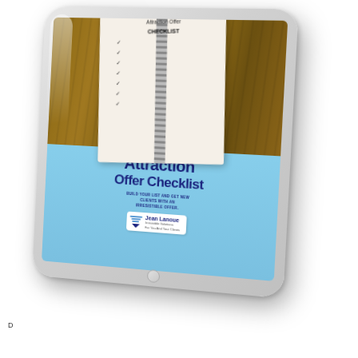[Figure (illustration): A tablet device displayed at an angle showing a book cover for 'Attraction Offer Checklist' by Jean Lanoue. The top portion of the tablet screen shows a notebook with checkmarks on a wood-grain background. The bottom portion shows a light blue cover with bold dark blue title text reading 'Attraction Offer Checklist', subtitle 'BUILD YOUR LIST AND GET NEW CLIENTS WITH AN IRRESISTIBLE OFFER', and a Jean Lanoue branding badge with logo.]